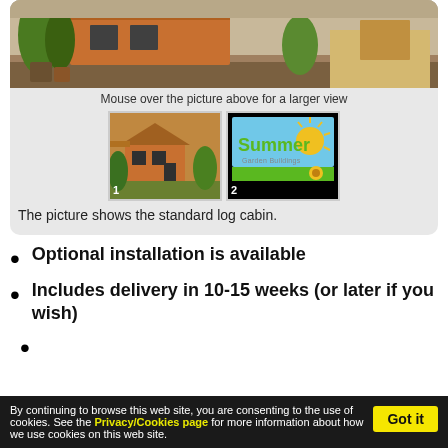[Figure (photo): Top portion of a log cabin / garden building photo, partially cropped, showing plants and outdoor setting]
Mouse over the picture above for a larger view
[Figure (photo): Thumbnail 1: log cabin garden building exterior photo]
[Figure (logo): Thumbnail 2: Summer Garden Buildings logo on black background]
The picture shows the standard log cabin.
Optional installation is available
Includes delivery in 10-15 weeks (or later if you wish)
By continuing to browse this web site, you are consenting to the use of cookies. See the Privacy/Cookies page for more information about how we use cookies on this web site.